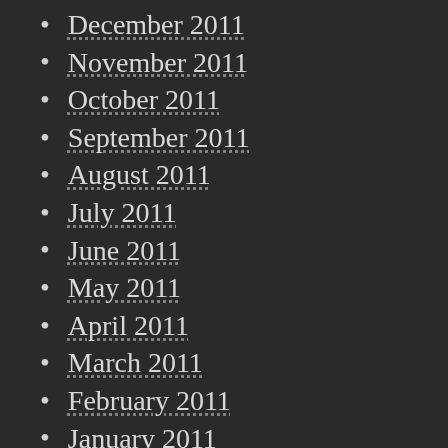December 2011
November 2011
October 2011
September 2011
August 2011
July 2011
June 2011
May 2011
April 2011
March 2011
February 2011
January 2011
December 2010